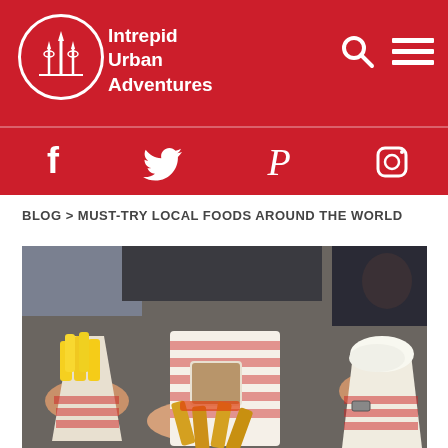Intrepid Urban Adventures
[Figure (logo): Intrepid Urban Adventures logo with white circle containing stylized minaret/city skyline icon and brand name text]
[Figure (infographic): Social media icons bar: Facebook, Twitter, Pinterest, Instagram on red background]
BLOG > MUST-TRY LOCAL FOODS AROUND THE WORLD
[Figure (photo): Hands holding paper cones of Belgian-style fries with various sauces including mayo, curry ketchup on red-and-white checkered paper wrappers]